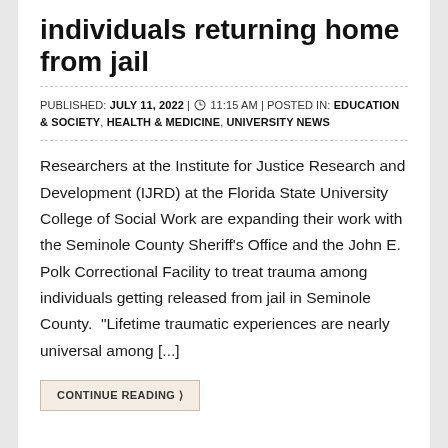individuals returning home from jail
PUBLISHED: JULY 11, 2022 | 11:15 AM | POSTED IN: EDUCATION & SOCIETY, HEALTH & MEDICINE, UNIVERSITY NEWS
Researchers at the Institute for Justice Research and Development (IJRD) at the Florida State University College of Social Work are expanding their work with the Seminole County Sheriff's Office and the John E. Polk Correctional Facility to treat trauma among individuals getting released from jail in Seminole County. "Lifetime traumatic experiences are nearly universal among [...]
CONTINUE READING ❯